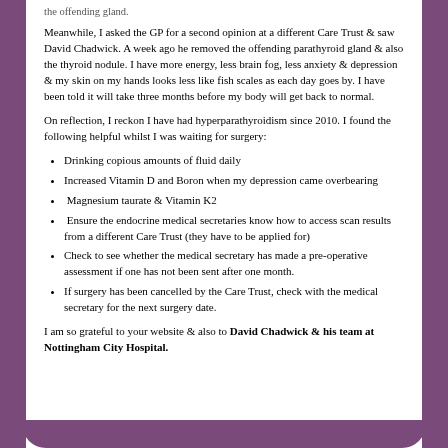the offending gland.
Meanwhile, I asked the GP for a second opinion at a different Care Trust & saw David Chadwick. A week ago he removed the offending parathyroid gland & also the thyroid nodule. I have more energy, less brain fog, less anxiety & depression & my skin on my hands looks less like fish scales as each day goes by. I have been told it will take three months before my body will get back to normal.
On reflection, I reckon I have had hyperparathyroidism since 2010. I found the following helpful whilst I was waiting for surgery:
Drinking copious amounts of fluid daily
Increased Vitamin D and Boron when my depression came overbearing
Magnesium taurate & Vitamin K2
Ensure the endocrine medical secretaries know how to access scan results from a different Care Trust (they have to be applied for)
Check to see whether the medical secretary has made a pre-operative assessment if one has not been sent after one month.
If surgery has been cancelled by the Care Trust, check with the medical secretary for the next surgery date.
I am so grateful to your website & also to David Chadwick & his team at Nottingham City Hospital.